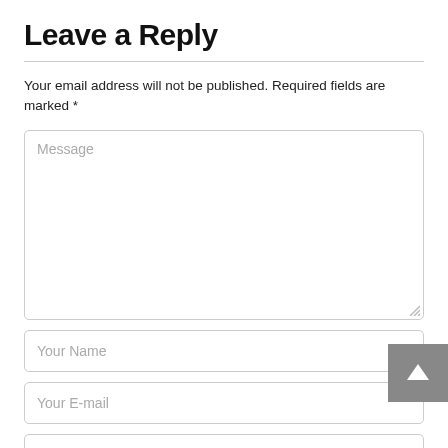Leave a Reply
Your email address will not be published. Required fields are marked *
[Figure (screenshot): Web form with placeholder fields: Message (textarea), Your Name (text input), Your E-mail (text input), Your Website (text input). A grey scroll-to-top button with an up-arrow is overlaid at the bottom right.]